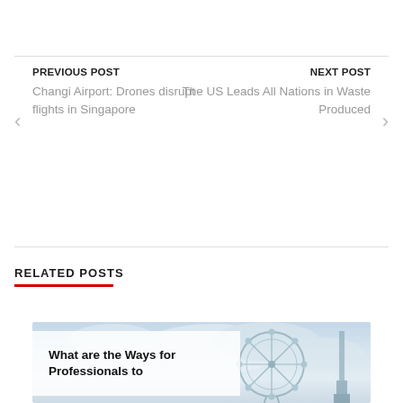PREVIOUS POST
Changi Airport: Drones disrupt flights in Singapore
NEXT POST
The US Leads All Nations in Waste Produced
RELATED POSTS
[Figure (photo): Background photo of skyline with ferris wheel (likely Singapore Eye/Flyer) and a tower against a cloudy sky, with overlaid text card reading 'What are the Ways for Professionals to...']
What are the Ways for Professionals to